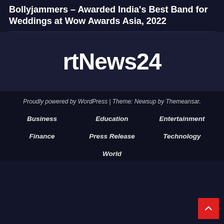Bollyjammers – Awarded India's Best Band for Weddings at Wow Awards Asia, 2022
[Figure (logo): rtNews24 logo in white bold text on dark navy background]
Proudly powered by WordPress | Theme: Newsup by Themeansar.
Business
Education
Entertainment
Finance
Press Release
Technology
World